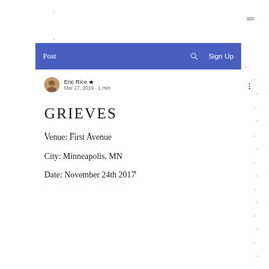Post  🔍  Sign Up
Eric Rice 👑
Mar 17, 2019 · 1 min
GRIEVES
Venue: First Avenue
City: Minneapolis, MN
Date: November 24th 2017